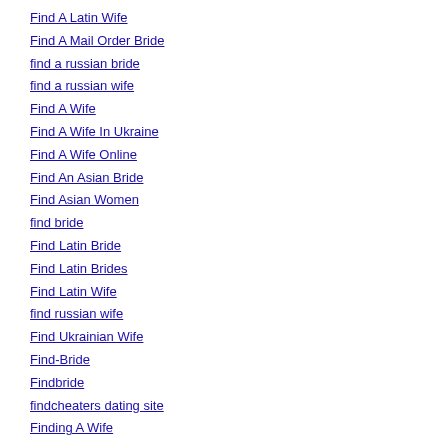Find A Latin Wife
Find A Mail Order Bride
find a russian bride
find a russian wife
Find A Wife
Find A Wife In Ukraine
Find A Wife Online
Find An Asian Bride
Find Asian Women
find bride
Find Latin Bride
Find Latin Brides
Find Latin Wife
find russian wife
Find Ukrainian Wife
Find-Bride
Findbride
findcheaters dating site
Finding A Wife